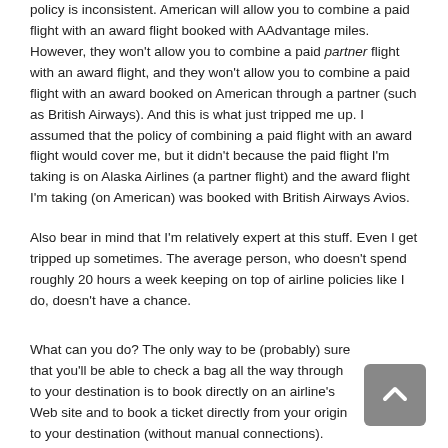policy is inconsistent. American will allow you to combine a paid flight with an award flight booked with AAdvantage miles. However, they won't allow you to combine a paid partner flight with an award flight, and they won't allow you to combine a paid flight with an award booked on American through a partner (such as British Airways). And this is what just tripped me up. I assumed that the policy of combining a paid flight with an award flight would cover me, but it didn't because the paid flight I'm taking is on Alaska Airlines (a partner flight) and the award flight I'm taking (on American) was booked with British Airways Avios.
Also bear in mind that I'm relatively expert at this stuff. Even I get tripped up sometimes. The average person, who doesn't spend roughly 20 hours a week keeping on top of airline policies like I do, doesn't have a chance.
What can you do? The only way to be (probably) sure that you'll be able to check a bag all the way through to your destination is to book directly on an airline's Web site and to book a ticket directly from your origin to your destination (without manual connections). Otherwise, build time into your